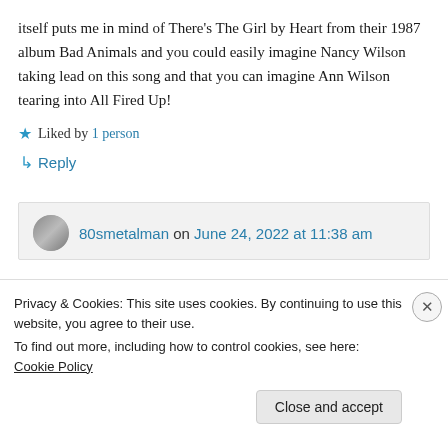itself puts me in mind of There's The Girl by Heart from their 1987 album Bad Animals and you could easily imagine Nancy Wilson taking lead on this song and that you can imagine Ann Wilson tearing into All Fired Up!
★ Liked by 1 person
↳ Reply
80smetalman on June 24, 2022 at 11:38 am
Privacy & Cookies: This site uses cookies. By continuing to use this website, you agree to their use. To find out more, including how to control cookies, see here: Cookie Policy
Close and accept